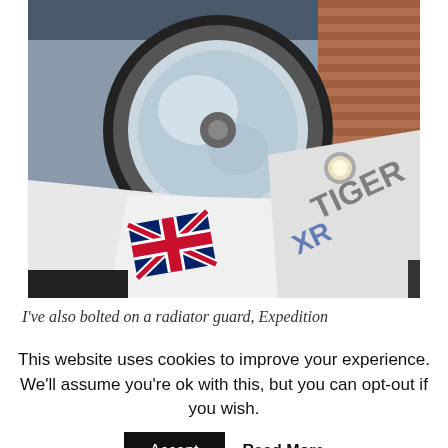[Figure (photo): Close-up photograph of the front of a white Triumph Tiger XR motorcycle. The large round headlight assembly is visible at the top, with chrome and black details. The white fairing panels are shown below, with a Union Jack (British flag) sticker on the left panel and 'Tiger XR' text/decal visible on the right panel. A brick wall is partially visible in the background.]
I've also bolted on a radiator guard, Expedition
This website uses cookies to improve your experience. We'll assume you're ok with this, but you can opt-out if you wish.
Accept
Read More